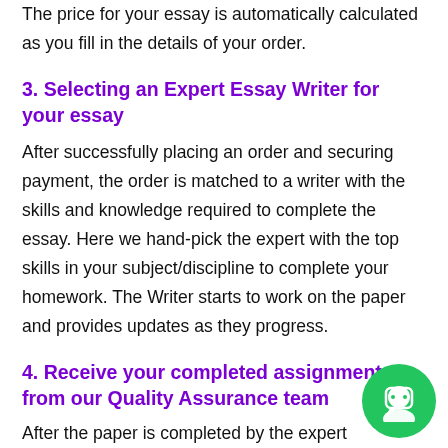The price for your essay is automatically calculated as you fill in the details of your order.
3. Selecting an Expert Essay Writer for your essay
After successfully placing an order and securing payment, the order is matched to a writer with the skills and knowledge required to complete the essay. Here we hand-pick the expert with the top skills in your subject/discipline to complete your homework. The Writer starts to work on the paper and provides updates as they progress.
4. Receive your completed assignment from our Quality Assurance team
After the paper is completed by the expert